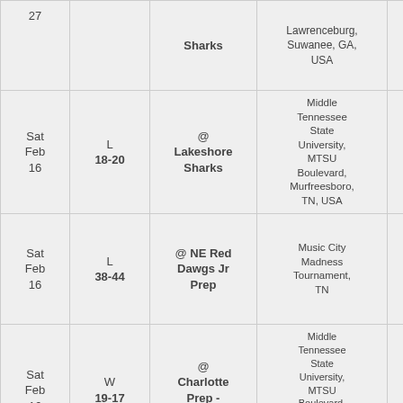| Date | Result | Opponent | Location | Status |  |
| --- | --- | --- | --- | --- | --- |
| 27 |  | Sharks | Lawrenceburg, Suwanee, GA, USA |  | - |
| Sat Feb 16 | L 18-20 | @ Lakeshore Sharks | Middle Tennessee State University, MTSU Boulevard, Murfreesboro, TN, USA | FINAL | - |
| Sat Feb 16 | L 38-44 | @ NE Red Dawgs Jr Prep | Music City Madness Tournament, TN | FINAL | - |
| Sat Feb 16 | W 19-17 | @ Charlotte Prep - Purple | Middle Tennessee State University, MTSU Boulevard, Murfreesboro, TN, USA - Music City Madness | FINAL | - |